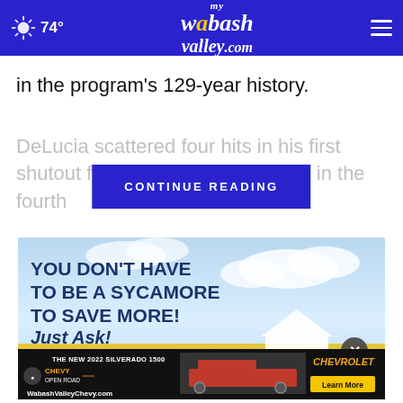74° | myWabashValley.com
in the program's 129-year history.
DeLucia scattered four hits in his first shutout for Ole Miss, Kevin Gra… in the fourth
CONTINUE READING
[Figure (photo): Advertisement: YOU DON'T HAVE TO BE A SYCAMORE TO SAVE MORE! Just Ask! — with sky background and house image]
[Figure (photo): Chevrolet advertisement: THE NEW 2022 SILVERADO 1500. Chevy Open Road. WabashValleyChevy.com. Learn More. Chevrolet logo.]